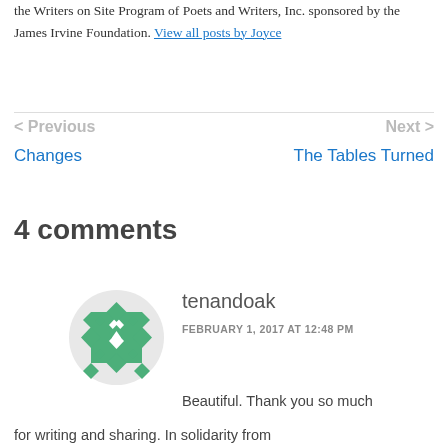the Writers on Site Program of Poets and Writers, Inc. sponsored by the James Irvine Foundation. View all posts by Joyce
< Previous
Changes
Next >
The Tables Turned
4 comments
[Figure (illustration): Green pixelated/diamond-pattern avatar icon for user tenandoak]
tenandoak
FEBRUARY 1, 2017 AT 12:48 PM
Beautiful. Thank you so much for writing and sharing. In solidarity from